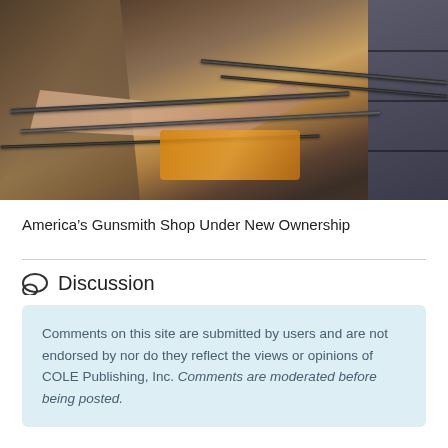[Figure (photo): A gunsmith working with rifles on a workbench in a gun shop, wearing a brown apron, with multiple gun barrels and storage bins visible in the background.]
America’s Gunsmith Shop Under New Ownership
Comments on this site are submitted by users and are not endorsed by nor do they reflect the views or opinions of COLE Publishing, Inc. Comments are moderated before being posted.
Discussion
Comments  Community  Privacy Policy  1  Login  ▾
❤ Favorite  Sort by Best ▾